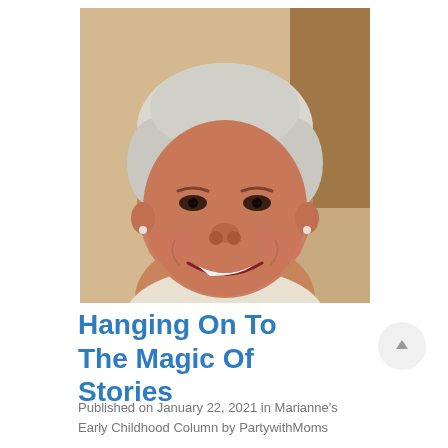[Figure (photo): Portrait photo of a smiling woman with short white/gray hair, wearing a light-colored top, photographed indoors with a warm background.]
Hanging On To The Magic Of Stories
Published on January 22, 2021 in Marianne’s Early Childhood Column by PartywithMoms